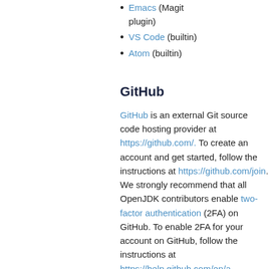Emacs (Magit plugin)
VS Code (builtin)
Atom (builtin)
GitHub
GitHub is an external Git source code hosting provider at https://github.com/. To create an account and get started, follow the instructions at https://github.com/join. We strongly recommend that all OpenJDK contributors enable two-factor authentication (2FA) on GitHub. To enable 2FA for your account on GitHub, follow the instructions at https://help.github.com/en/articles/securing-your-